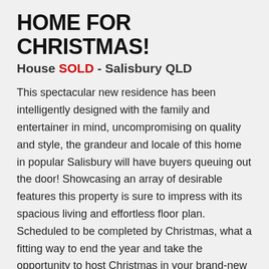HOME FOR CHRISTMAS!
House SOLD - Salisbury QLD
This spectacular new residence has been intelligently designed with the family and entertainer in mind, uncompromising on quality and style, the grandeur and locale of this home in popular Salisbury will have buyers queuing out the door! Showcasing an array of desirable features this property is sure to impress with its spacious living and effortless floor plan. Scheduled to be completed by Christmas, what a fitting way to end the year and take the opportunity to host Christmas in your brand-new luxury